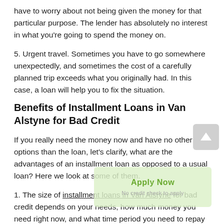have to worry about not being given the money for that particular purpose. The lender has absolutely no interest in what you're going to spend the money on.
5. Urgent travel. Sometimes you have to go somewhere unexpectedly, and sometimes the cost of a carefully planned trip exceeds what you originally had. In this case, a loan will help you to fix the situation.
Benefits of Installment Loans in Van Alstyne for Bad Credit
If you really need the money now and have no other options than the loan, let's clarify, what are the advantages of an installment loan as opposed to a usual loan? Here we look at some of them.
1. The size of installment loans in Van Alstyne for bad credit depends on your needs, how much money you need right now, and what time period you need to repay it.